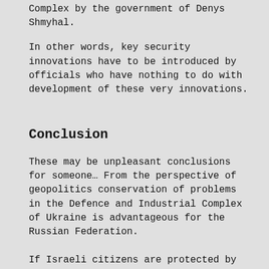Complex by the government of Denys Shmyhal.
In other words, key security innovations have to be introduced by officials who have nothing to do with development of these very innovations.
Conclusion
These may be unpleasant conclusions for someone… From the perspective of geopolitics conservation of problems in the Defence and Industrial Complex of Ukraine is advantageous for the Russian Federation.
If Israeli citizens are protected by the Iron Dome, which was witnessed by the whole world after the last missile attack of HAMAS terrorists, the Ukrainian society is still under the iron boot of the Russians, with its political leaders starting the third circle of reflections on modernization of the army.